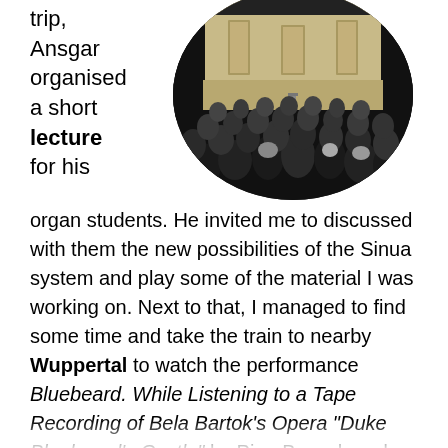trip, Ansgar organised a short lecture for his
[Figure (photo): Circular cropped photograph of a theater audience viewed from behind, looking at a large lit stage with minimal set design — an empty room with high walls and a single chair. The audience fills the bottom half of the circular frame.]
organ students. He invited me to discussed with them the new possibilities of the Sinua system and play some of the material I was working on. Next to that, I managed to find some time and take the train to nearby Wuppertal to watch the performance Bluebeard. While Listening to a Tape Recording of Bela Bartok's Opera “Duke Bluebeard's Castle” by Pina Bausch and Tanztheater Wuppertal. Such a composition of movement in space and time, I felt very lucky I could be there and watch this piece live.